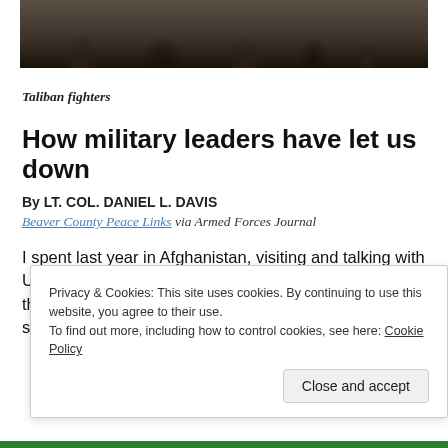[Figure (photo): Partial photo of Taliban fighters, cropped at top, showing group of people in muted tones]
Taliban fighters
How military leaders have let us down
By LT. COL. DANIEL L. DAVIS
Beaver County Peace Links via Armed Forces Journal
I spent last year in Afghanistan, visiting and talking with U.S. troops and their Afghan partners. My duties with the Army's Rapid Equipping Force took me into every significant area
Privacy & Cookies: This site uses cookies. By continuing to use this website, you agree to their use.
To find out more, including how to control cookies, see here: Cookie Policy
Close and accept